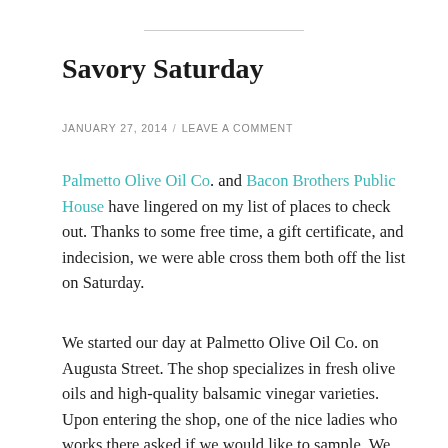Savory Saturday
JANUARY 27, 2014 / LEAVE A COMMENT
Palmetto Olive Oil Co. and Bacon Brothers Public House have lingered on my list of places to check out. Thanks to some free time, a gift certificate, and indecision, we were able cross them both off the list on Saturday.
We started our day at Palmetto Olive Oil Co. on Augusta Street. The shop specializes in fresh olive oils and high-quality balsamic vinegar varieties. Upon entering the shop, one of the nice ladies who works there asked if we would like to sample. We said yes and